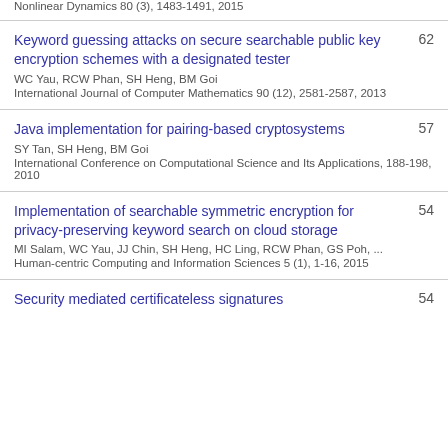Nonlinear Dynamics 80 (3), 1483-1491, 2015
Keyword guessing attacks on secure searchable public key encryption schemes with a designated tester
WC Yau, RCW Phan, SH Heng, BM Goi
International Journal of Computer Mathematics 90 (12), 2581-2587, 2013
62
Java implementation for pairing-based cryptosystems
SY Tan, SH Heng, BM Goi
International Conference on Computational Science and Its Applications, 188-198, 2010
57
Implementation of searchable symmetric encryption for privacy-preserving keyword search on cloud storage
MI Salam, WC Yau, JJ Chin, SH Heng, HC Ling, RCW Phan, GS Poh, ...
Human-centric Computing and Information Sciences 5 (1), 1-16, 2015
54
Security mediated certificateless signatures
54